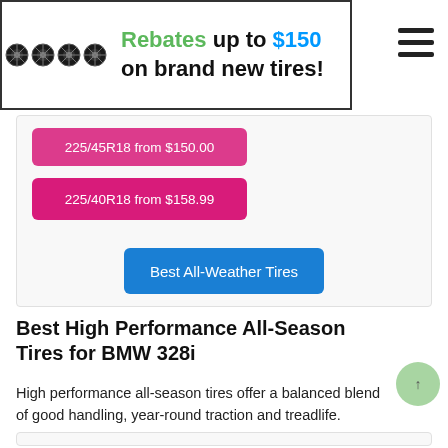[Figure (other): Banner advertisement showing four black car tires on the left and promotional text 'Rebates up to $150 on brand new tires!' on a white background with a dark border]
[Figure (other): Hamburger menu icon (three horizontal lines) in the top right corner]
225/45R18 from $150.00
225/40R18 from $158.99
[Figure (other): Blue rectangular button labeled 'Best All-Weather Tires']
Best High Performance All-Season Tires for BMW 328i
High performance all-season tires offer a balanced blend of good handling, year-round traction and treadlife.
[Figure (photo): Partial view of a black car tire at the bottom of the page]